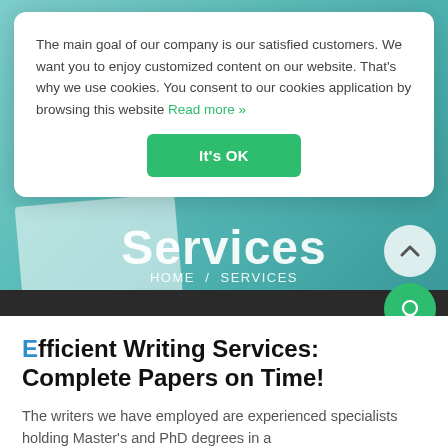[Figure (screenshot): Website hero banner with teal/cyan background showing 'Services' heading and breadcrumb navigation HOME / SERVICES, with scroll-up and chat buttons on the right.]
The main goal of our company is our satisfied customers. We want you to enjoy customized content on our website. That's why we use cookies. You consent to our cookies application by browsing this website Read more »
It's OK
Efficient Writing Services: Complete Papers on Time!
The writers we have employed are experienced specialists holding Master's and PhD degrees in a